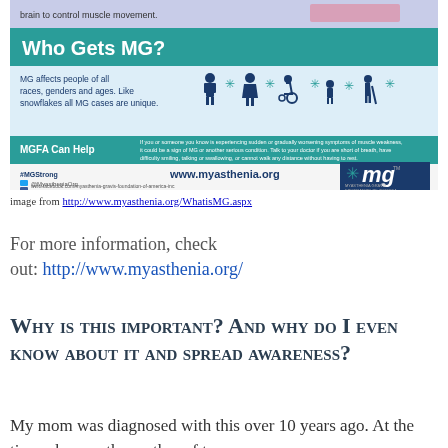[Figure (infographic): Myasthenia Gravis Foundation of America (MGFA) infographic showing 'Who Gets MG?' section with icons of people of different ages and abilities, MGFA Can Help section, and website www.myasthenia.org]
image from http://www.myasthenia.org/WhatisMG.aspx
For more information, check out: http://www.myasthenia.org/
Why is this important? And why do I even know about it and spread awareness?
My mom was diagnosed with this over 10 years ago. At the time, she was the mother of two